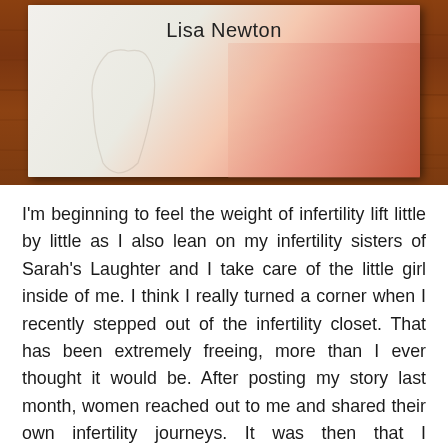[Figure (photo): Photograph of a book by Lisa Newton resting on a wooden surface. The book cover shows the author name 'Lisa Newton' at the top, with a white and pink/salmon color design featuring a faint figure outline.]
I'm beginning to feel the weight of infertility lift little by little as I also lean on my infertility sisters of Sarah's Laughter and I take care of the little girl inside of me. I think I really turned a corner when I recently stepped out of the infertility closet. That has been extremely freeing, more than I ever thought it would be. After posting my story last month, women reached out to me and shared their own infertility journeys. It was then that I understood God's plan all along. Through our own struggle, a dialogue has started and our simple story is touching others and sending such a wonderful message to those hurting like us. Infertility isn't something we need to be ashamed of and being